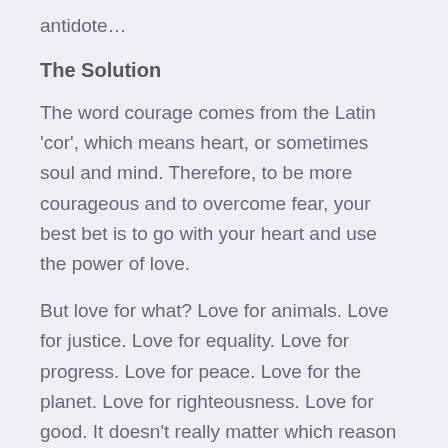antidote…
The Solution
The word courage comes from the Latin 'cor', which means heart, or sometimes soul and mind. Therefore, to be more courageous and to overcome fear, your best bet is to go with your heart and use the power of love.
But love for what? Love for animals. Love for justice. Love for equality. Love for progress. Love for peace. Love for the planet. Love for righteousness. Love for good. It doesn't really matter which reason you find to be the most important, as long as there is a positive motive that compels you to face the fears that inevitably come from being a vegan.
“Courage is not the absence of fear, but rather the